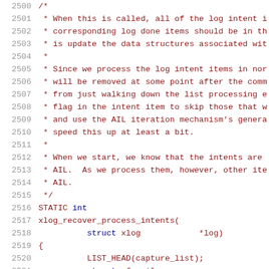Source code listing, lines 2500-2521, showing a C function comment block and function signature for xlog_recover_process_intents